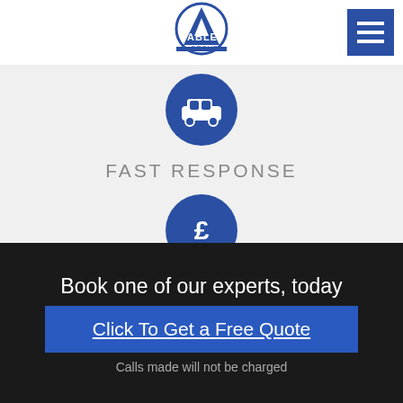[Figure (logo): Able Group logo — blue triangle/A shape with circle and 'ABLE GROUP' text]
[Figure (illustration): Blue circle icon with vehicle/car image representing fast response]
FAST RESPONSE
[Figure (illustration): Blue circle icon with pound sterling sign representing no call out charge]
NO CALL OUT CHARGE
[Figure (illustration): Blue circle icon with clipboard/pen representing booking (partially visible)]
Book one of our experts, today
Click To Get a Free Quote
Calls made will not be charged